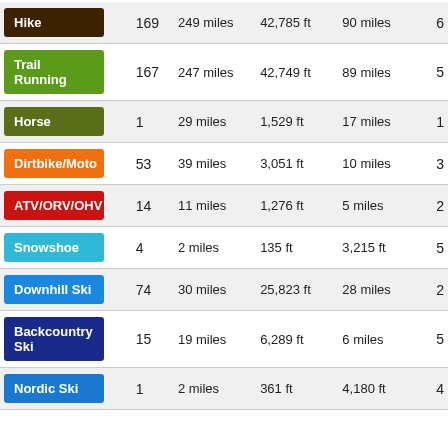| Activity | Count | Distance | Elevation | Max Single | Last Col |
| --- | --- | --- | --- | --- | --- |
| Hike | 169 | 249 miles | 42,785 ft | 90 miles | 6 |
| Trail Running | 167 | 247 miles | 42,749 ft | 89 miles | 5 |
| Horse | 1 | 29 miles | 1,529 ft | 17 miles | 1 |
| Dirtbike/Moto | 53 | 39 miles | 3,051 ft | 10 miles | 3 |
| ATV/ORV/OHV | 14 | 11 miles | 1,276 ft | 5 miles | 2 |
| Snowshoe | 4 | 2 miles | 135 ft | 3,215 ft | 5 |
| Downhill Ski | 74 | 30 miles | 25,823 ft | 28 miles | 2 |
| Backcountry Ski | 15 | 19 miles | 6,289 ft | 6 miles | 5 |
| Nordic Ski | 1 | 2 miles | 361 ft | 4,180 ft | 4 |